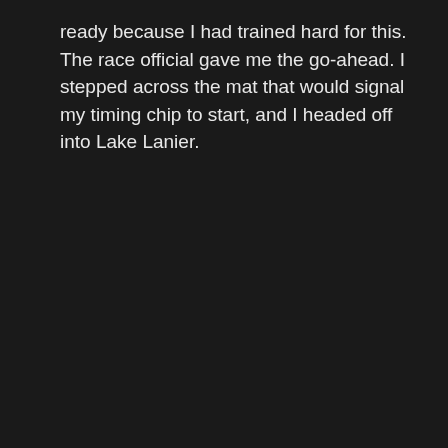ready because I had trained hard for this. The race official gave me the go-ahead. I stepped across the mat that would signal my timing chip to start, and I headed off into Lake Lanier.